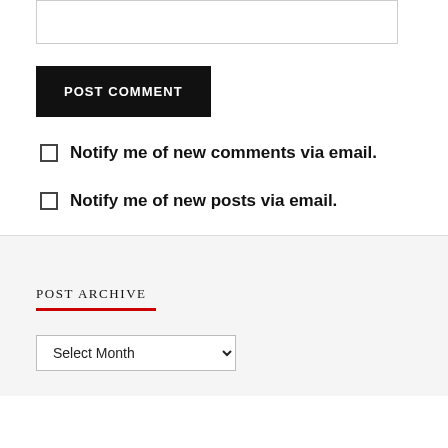[textarea box]
POST COMMENT
Notify me of new comments via email.
Notify me of new posts via email.
POST ARCHIVE
Select Month